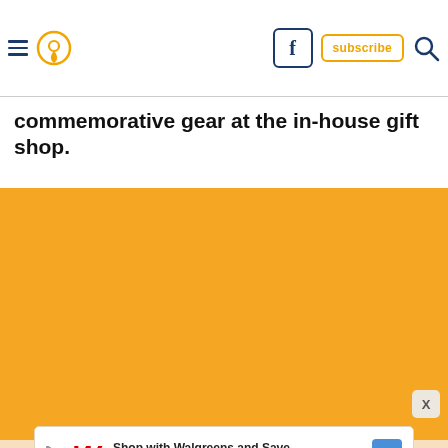Navigation bar with hamburger menu, location pin icon, Facebook icon, subscribe button, and search icon
commemorative gear at the in-house gift shop.
[Figure (photo): Large orange/amber colored area filling most of the page, representing an image placeholder or loading state]
X (close button)
Shop with Walgreens and Save Walgreens Photo